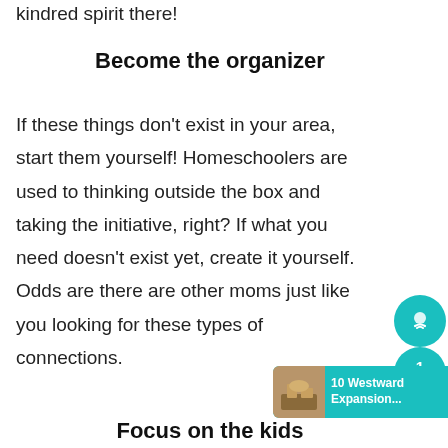kindred spirit there!
Become the organizer
If these things don't exist in your area, start them yourself! Homeschoolers are used to thinking outside the box and taking the initiative, right? If what you need doesn't exist yet, create it yourself. Odds are there are other moms just like you looking for these types of connections.
Focus on the kids
[Figure (other): Teal circular scroll/share button widget on the right side of the page]
[Figure (other): Teal notification badge showing number 1 with share icons]
[Figure (other): Advertisement banner for '10 Westward Expansion...' with teal background and thumbnail image]